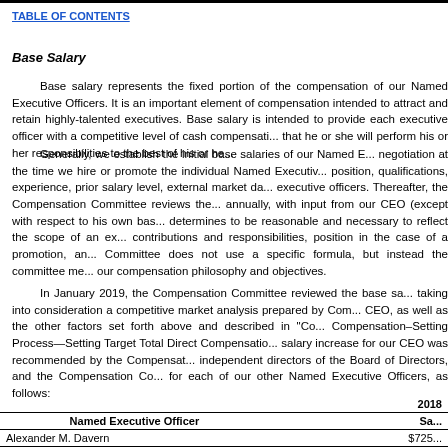TABLE OF CONTENTS
Base Salary
Base salary represents the fixed portion of the compensation of our Named Executive Officers. It is an important element of compensation intended to attract and retain highly-talented executives. Base salary is intended to provide each executive officer with a competitive level of cash compensation for services rendered, in exchange for that he or she will perform his or her responsibilities to the best of his or her abilities.
Generally, we establish the initial base salaries of our Named Executive Officers through individual negotiation at the time we hire or promote the individual Named Executive Officer, taking into account factors such as position, qualifications, experience, prior salary level, external market data, and base salaries paid to our other Named executive officers. Thereafter, the Compensation Committee reviews the base salaries of our Named Executive Officers annually, with input from our CEO (except with respect to his own base salary), and makes adjustments that it determines to be reasonable and necessary to reflect the scope of an executive officer's performance, individual contributions and responsibilities, position in the case of a promotion, and market conditions. The Compensation Committee does not use a specific formula, but instead the committee members use their judgment in accordance with our compensation philosophy and objectives.
In January 2019, the Compensation Committee reviewed the base salaries for our Named Executive Officers, taking into consideration a competitive market analysis prepared by Compensia at the request of the Compensation Committee and CEO, as well as the other factors set forth above and described in "Compensation Discussion and Analysis—Our Compensation–Setting Process—Setting Target Total Direct Compensation" in this proxy statement. Any recommended base salary increase for our CEO was recommended by the Compensation Committee to and approved by all of the independent directors of the Board of Directors, and the Compensation Committee approved the following base salaries for each of our other Named Executive Officers, as follows:
| Named Executive Officer | 2018 Salary |
| --- | --- |
| Alexander M. Davern | $725 |